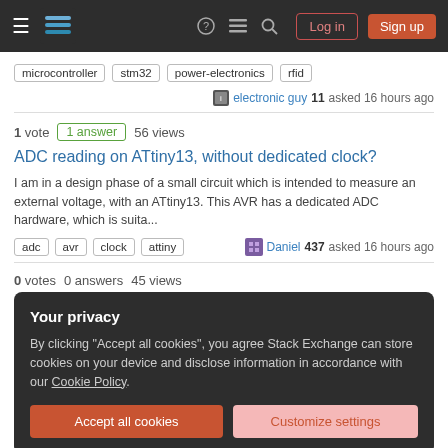≡ [logo] ? ≡ 🔍 Log in Sign up
microcontroller  stm32  power-electronics  rfid
electronic guy 11 asked 16 hours ago
1 vote  1 answer  56 views
ADC reading on ATtiny13, without dedicated clock?
I am in a design phase of a small circuit which is intended to measure an external voltage, with an ATtiny13. This AVR has a dedicated ADC hardware, which is suita...
adc  avr  clock  attiny  — Daniel 437 asked 16 hours ago
0 votes  0 answers  45 views
Your privacy
By clicking "Accept all cookies", you agree Stack Exchange can store cookies on your device and disclose information in accordance with our Cookie Policy.
Accept all cookies  Customize settings